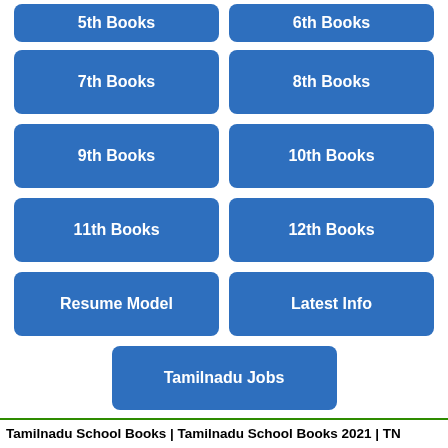5th Books
6th Books
7th Books
8th Books
9th Books
10th Books
11th Books
12th Books
Resume Model
Latest Info
Tamilnadu Jobs
Tamilnadu School Books | Tamilnadu School Books 2021 | TN School EBooks | TN Textbooks | Tamilnadu School Textbooks | Tamilnadu School Books 1st, 2nd, 3rd, 4th, 5th, 6th, 7th, 8th, 9th, 10th, 11th, 12th | Tamilnadu New School Text Books Free Download PDF Samacheer Kalvi Tamil English Medium TN School eBook